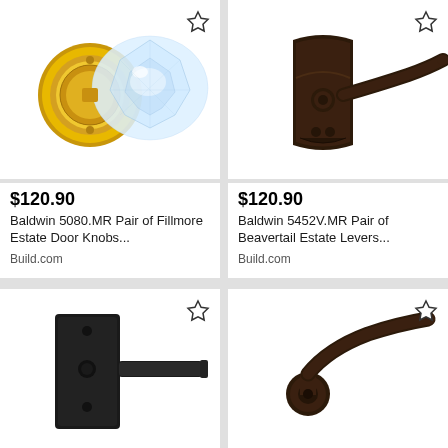[Figure (photo): Crystal glass door knob with polished brass rose/backplate - Baldwin 5080.MR Fillmore Estate Door Knob]
$120.90
Baldwin 5080.MR Pair of Fillmore Estate Door Knobs...
Build.com
[Figure (photo): Dark oil-rubbed bronze lever door handle with arched backplate - Baldwin 5452V.MR Beavertail Estate Lever]
$120.90
Baldwin 5452V.MR Pair of Beavertail Estate Levers...
Build.com
[Figure (photo): Matte black angular lever door handle with rectangular backplate]
[Figure (photo): Oil-rubbed bronze curved lever door handle]